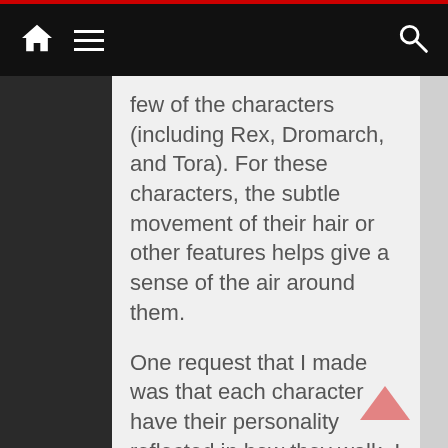Navigation bar with home, menu, and search icons
few of the characters (including Rex, Dromarch, and Tora). For these characters, the subtle movement of their hair or other features helps give a sense of the air around them.
One request that I made was that each character have their personality reflected in how they walk. I think their personalities come through quite well. Especially Poppi, who you can easily tell is artificial. The other characters also have some slight differences in how they walk and run, which is something I'd like you to look out for while you play.